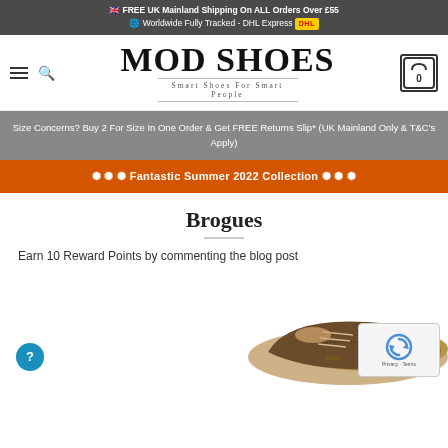🇬🇧 FREE UK Mainland Shipping On ALL Orders Over £55
🌐 Worldwide Fully Tracked - DHL Express [DHL]
[Figure (logo): Mod Shoes logo with hamburger menu, search icon, and cart icon. Logo reads MOD SHOES with tagline Smart Shoes For Smart People]
Size Concerns? Buy 2 For Size In One Order & Get FREE Returns Slip* (UK Mainland Only & T&C's Apply)
✺ ✺ ✺ Fantastic Summer 2022 Collection ✺ ✺ ✺
Brogues
Earn 10 Reward Points by commenting the blog post
[Figure (photo): Close-up of brogue shoes, brown leather with decorative perforations, partial view at bottom of page]